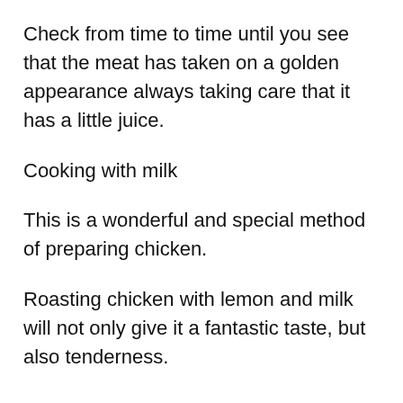Check from time to time until you see that the meat has taken on a golden appearance always taking care that it has a little juice.
Cooking with milk
This is a wonderful and special method of preparing chicken.
Roasting chicken with lemon and milk will not only give it a fantastic taste, but also tenderness.